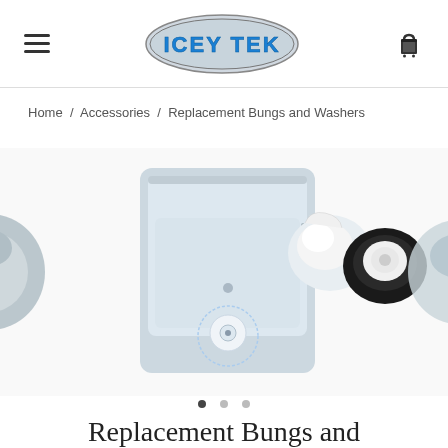ICEY TEK — navigation header
Home / Accessories / Replacement Bungs and Washers
[Figure (photo): Product photo carousel showing cooler bung/drain plug components: left partial view of grey bung, center image of Icey Tek cooler with highlighted bung/drain area, right image of white bung and black washer replacement parts, far right partial view of another bung]
Replacement Bungs and